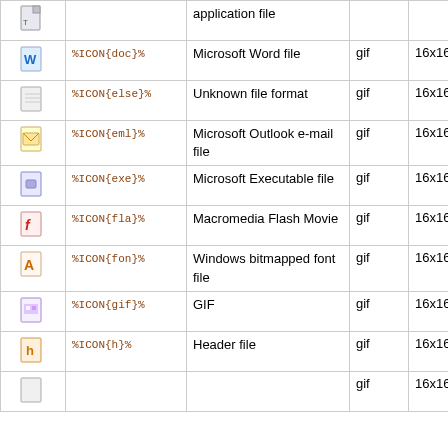| Icon | Macro | Description | Type | Size | Alt |
| --- | --- | --- | --- | --- | --- |
| [icon] | %ICON{doc}% | Microsoft Word file | gif | 16x16 | rtf |
| [icon] | %ICON{else}% | Unknown file format | gif | 16x16 |  |
| [icon] | %ICON{eml}% | Microsoft Outlook e-mail file | gif | 16x16 | email |
| [icon] | %ICON{exe}% | Microsoft Executable file | gif | 16x16 |  |
| [icon] | %ICON{fla}% | Macromedia Flash Movie | gif | 16x16 |  |
| [icon] | %ICON{fon}% | Windows bitmapped font file | gif | 16x16 |  |
| [icon] | %ICON{gif}% | GIF | gif | 16x16 | pcx |
| [icon] | %ICON{h}% | Header file | gif | 16x16 |  |
| [icon] | ... | ... | gif | 16x16 |  |